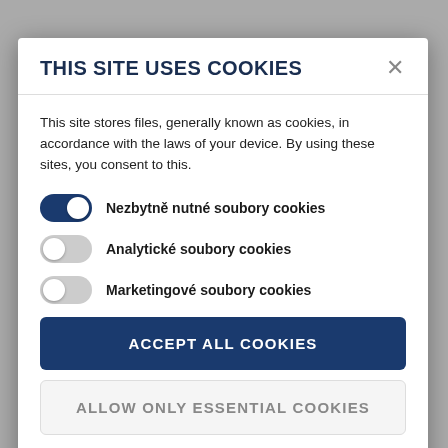THIS SITE USES COOKIES
This site stores files, generally known as cookies, in accordance with the laws of your device. By using these sites, you consent to this.
Nezbytně nutné soubory cookies (toggle: ON)
Analytické soubory cookies (toggle: OFF)
Marketingové soubory cookies (toggle: OFF)
ACCEPT ALL COOKIES
ALLOW ONLY ESSENTIAL COOKIES
More information